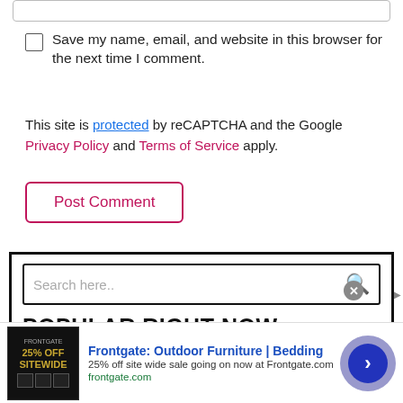[Figure (screenshot): Input box at top of page (website form field, partially visible)]
Save my name, email, and website in this browser for the next time I comment.
This site is protected by reCAPTCHA and the Google Privacy Policy and Terms of Service apply.
Post Comment
Search here..
POPULAR RIGHT NOW
[Figure (screenshot): Advertisement banner: Frontgate: Outdoor Furniture | Bedding. 25% off site wide sale going on now at Frontgate.com. frontgate.com]